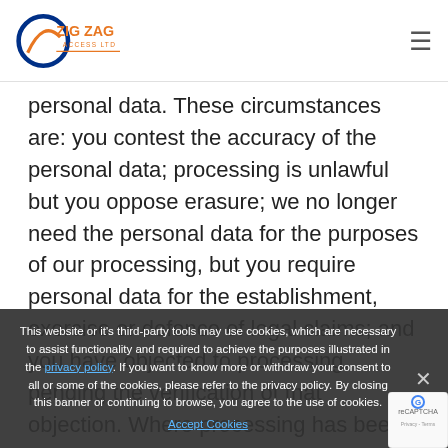ZIG ZAG ACCESS LTD
personal data. These circumstances are: you contest the accuracy of the personal data; processing is unlawful but you oppose erasure; we no longer need the personal data for the purposes of our processing, but you require personal data for the establishment, exercise or defence of legal claims; and you have objected to processing, pending the verification of that objection. Where processing has been restricted on these bases, we may continue to store your personal data. However, we will only otherwise process it: exercise or defence of legal claims; for the protection of the rights of another natural or
This website or it's third-party tools may use cookies, which are necessary to assist functionality and required to achieve the purposes illustrated in the privacy policy. If you want to know more or withdraw your consent to all or some of the cookies, please refer to the privacy policy. By closing this banner or continuing to browse, you agree to the use of cookies.